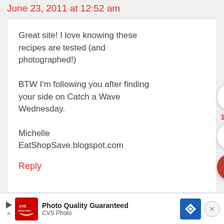June 23, 2011 at 12:52 am
Great site! I love knowing these recipes are tested (and photographed!)

BTW I'm following you after finding your side on Catch a Wave Wednesday.

Michelle
EatShopSave.blogspot.com
Reply
[Figure (screenshot): CVS Photo ad banner: red CVS pharmacy logo icon, play button, text 'Photo Quality Guaranteed / CVS Photo', blue diamond arrow icon, close X button]